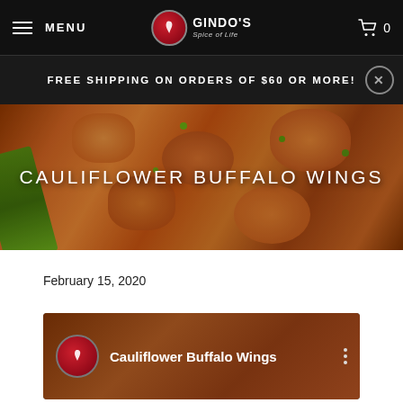MENU | GINDO'S Spice of Life | Cart 0
FREE SHIPPING ON ORDERS OF $60 OR MORE!
[Figure (photo): Close-up photo of cauliflower buffalo wings with green onions, with text overlay reading CAULIFLOWER BUFFALO WINGS]
February 15, 2020
[Figure (screenshot): Video thumbnail showing Cauliflower Buffalo Wings with Gindo's logo icon and three-dot menu]